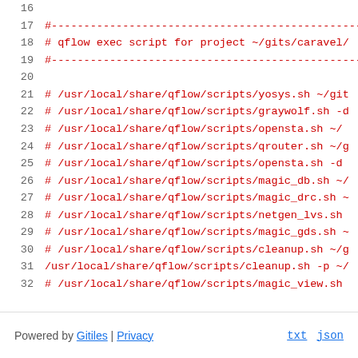Code listing lines 16-32: shell script comments and commands for qflow exec script for project ~/gits/caravel/. Lines show commented-out calls to /usr/local/share/qflow/scripts/ including yosys.sh, graywolf.sh, opensta.sh, qrouter.sh, magic_db.sh, magic_drc.sh, netgen_lvs.sh, magic_gds.sh, cleanup.sh, magic_view.sh; line 31 is an active (uncommented) cleanup.sh call.
Powered by Gitiles | Privacy    txt  json